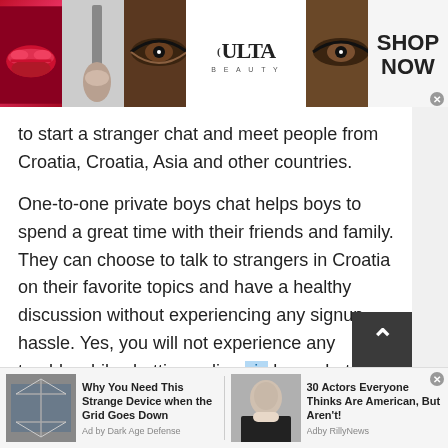[Figure (other): Top banner advertisement for ULTA Beauty showing cosmetic images (red lips, makeup brush, eyes with dramatic makeup), ULTA Beauty logo, more eyes, and a 'SHOP NOW' call to action button with close X.]
to start a stranger chat and meet people from Croatia, Croatia, Asia and other countries.
One-to-one private boys chat helps boys to spend a great time with their friends and family. They can choose to talk to strangers in Croatia on their favorite topics and have a healthy discussion without experiencing any signup hassle. Yes, you will not experience any trouble while chatting online via boys chat. TWS always commits to make thing
[Figure (infographic): Bottom advertisement bar with two ad items: 1) Power grid image with text 'Why You Need This Strange Device when the Grid Goes Down' Ad by Dark Age Defense. 2) Photo of a man (Bruce Willis lookalike) with text '30 Actors Everyone Thinks Are American, But Aren't!' Adby RillyNews. Has a close X button.]